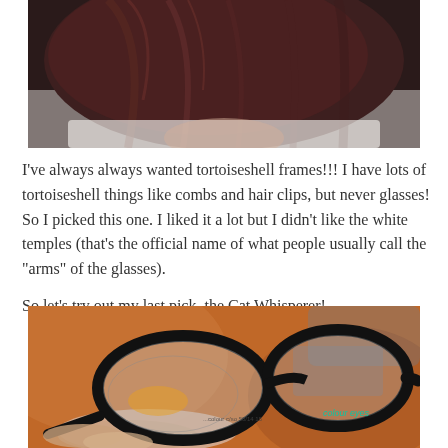[Figure (photo): Top portion of a person with dark reddish-brown hair wearing a white top, cropped to show only the top of the head and hair.]
I've always always wanted tortoiseshell frames!!! I have lots of tortoiseshell things like combs and hair clips, but never glasses! So I picked this one. I liked it a lot but I didn't like the white temples (that's the official name of what people usually call the "arms" of the glasses).
So let's try out my last pick, the Cat Whisperer!
[Figure (photo): A hand holding a pair of black cat-eye style eyeglasses (the Cat Whisperer) against a warm brown/orange background. The glasses have oval/cat-eye shaped frames and the brand "colour eyes" is visible on the temple arm.]